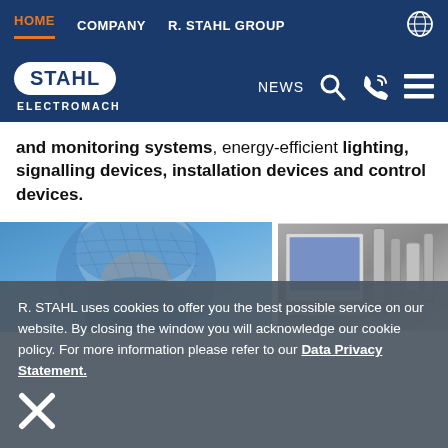HOME | COMPANY | R. STAHL GROUP
[Figure (logo): STAHL ELECTROMACH logo with navigation bar including NEWS, search, phone, and menu icons]
and monitoring systems, energy-efficient lighting, signalling devices, installation devices and control devices.
[Figure (photo): Left: person in blue hair net and protective clothing working in cleanroom. Right: industrial control panel with screens and machinery in background.]
R. STAHL uses cookies to offer you the best possible service on our website. By closing the window you will acknowledge our cookie policy. For more information please refer to our Data Privacy Statement.